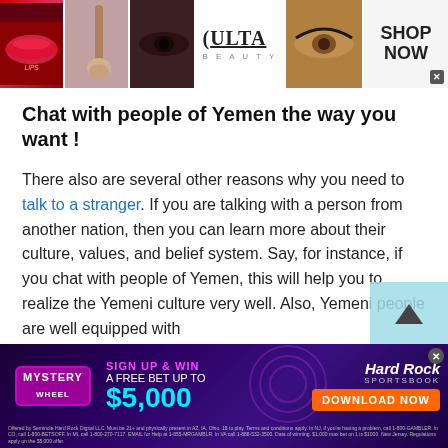[Figure (screenshot): Top advertisement banner for Ulta Beauty showing makeup product images (lips, brush, eye), Ulta Beauty logo, and SHOP NOW call to action button with close X]
Chat with people of Yemen the way you want !
There also are several other reasons why you need to talk to a stranger. If you are talking with a person from another nation, then you can learn more about their culture, values, and belief system. Say, for instance, if you chat with people of Yemen, this will help you to realize the Yemeni culture very well. Also, Yemeni people are well equipped with
[Figure (screenshot): Bottom advertisement for Hard Rock Sportsbook Mystery Wheel promotion: Sign up and win a free bet up to $5,000 with Download Now button]